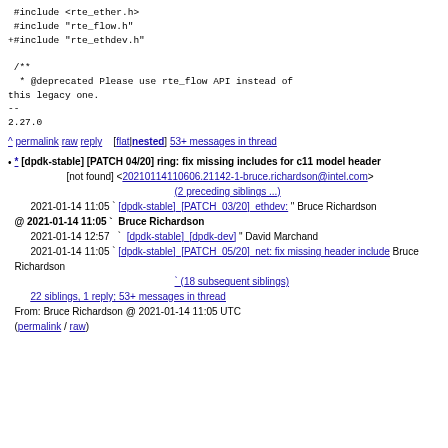#include <rte_ether.h>
 #include "rte_flow.h"
+#include "rte_ethdev.h"

 /**
  * @deprecated Please use rte_flow API instead of this legacy one.
 --
2.27.0
^ permalink raw reply [flat|nested] 53+ messages in thread
* [dpdk-stable] [PATCH 04/20] ring: fix missing includes for c11 model header
[not found] <20210114110606.21142-1-bruce.richardson@intel.com>
(2 preceding siblings ...)
2021-01-14 11:05 ` [dpdk-stable] [PATCH 03/20] ethdev: " Bruce Richardson
@ 2021-01-14 11:05 ` Bruce Richardson
2021-01-14 12:57 ` [dpdk-stable] [dpdk-dev] " David Marchand
2021-01-14 11:05 ` [dpdk-stable] [PATCH 05/20] net: fix missing header include Bruce Richardson
(18 subsequent siblings)
22 siblings, 1 reply; 53+ messages in thread
From: Bruce Richardson @ 2021-01-14 11:05 UTC
(permalink / raw)